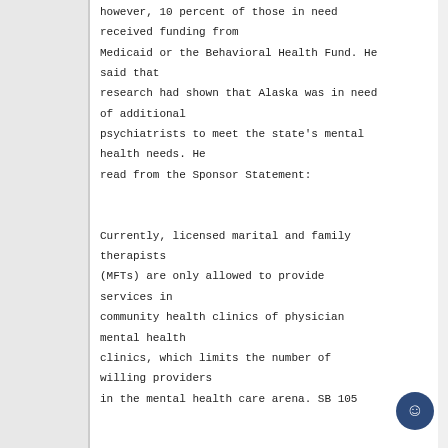however, 10 percent of those in need received funding from Medicaid or the Behavioral Health Fund. He said that research had shown that Alaska was in need of additional psychiatrists to meet the state's mental health needs. He read from the Sponsor Statement:

Currently, licensed marital and family therapists (MFTs) are only allowed to provide services in community health clinics of physician mental health clinics, which limits the number of willing providers in the mental health care arena. SB 105